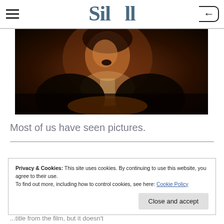Sil...ll
[Figure (photo): Dark sepia-toned film still showing a man in formal attire, mouth open, against a dark warm-toned background]
Most of us have seen pictures.
Privacy & Cookies: This site uses cookies. By continuing to use this website, you agree to their use.
To find out more, including how to control cookies, see here: Cookie Policy
Close and accept
...title from the film, but it doesn't